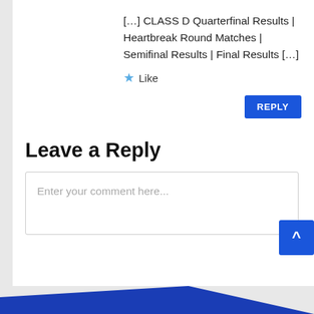[…] CLASS D Quarterfinal Results | Heartbreak Round Matches | Semifinal Results | Final Results […]
★ Like
REPLY
Leave a Reply
Enter your comment here...